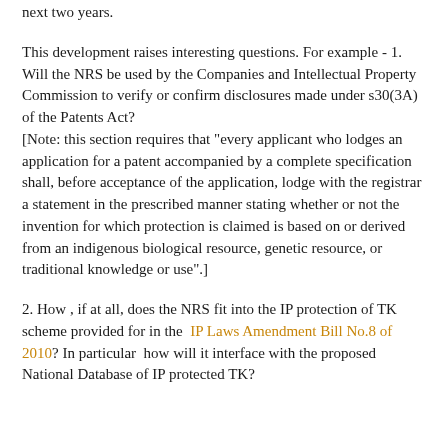next two years.
This development raises interesting questions. For example - 1. Will the NRS be used by the Companies and Intellectual Property Commission to verify or confirm disclosures made under s30(3A) of the Patents Act?
[Note: this section requires that "every applicant who lodges an application for a patent accompanied by a complete specification shall, before acceptance of the application, lodge with the registrar a statement in the prescribed manner stating whether or not the invention for which protection is claimed is based on or derived from an indigenous biological resource, genetic resource, or traditional knowledge or use".]
2. How , if at all, does the NRS fit into the IP protection of TK scheme provided for in the IP Laws Amendment Bill No.8 of 2010? In particular  how will it interface with the proposed National Database of IP protected TK?